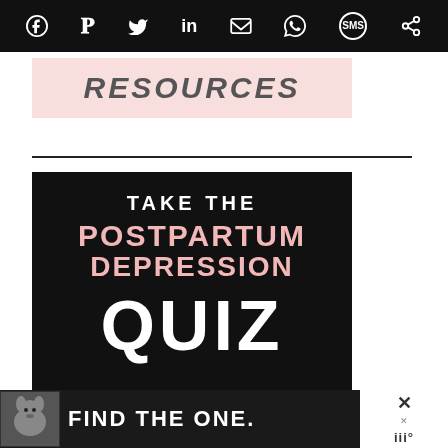[Figure (screenshot): Black social sharing toolbar with icons for Pinterest, Facebook, Twitter, LinkedIn, Email, WhatsApp, SMS, and another share option]
[Figure (illustration): Pink banner with handwritten-style text reading RESOURCES]
[Figure (illustration): Black background promotional image with text: TAKE THE POSTPARTUM DEPRESSION QUIZ in white and pink lettering]
[Figure (screenshot): Ad banner at bottom with dog image and text FIND THE ONE, with close button and weather icon on right]